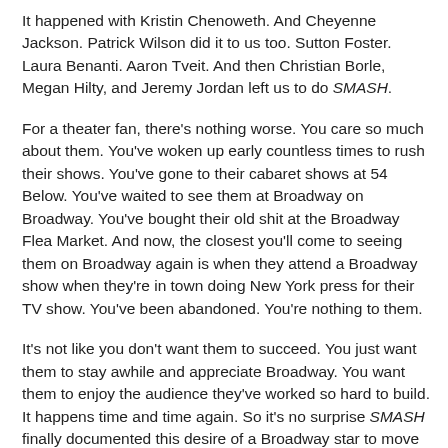It happened with Kristin Chenoweth. And Cheyenne Jackson. Patrick Wilson did it to us too. Sutton Foster. Laura Benanti. Aaron Tveit. And then Christian Borle, Megan Hilty, and Jeremy Jordan left us to do SMASH.
For a theater fan, there's nothing worse. You care so much about them. You've woken up early countless times to rush their shows. You've gone to their cabaret shows at 54 Below. You've waited to see them at Broadway on Broadway. You've bought their old shit at the Broadway Flea Market. And now, the closest you'll come to seeing them on Broadway again is when they attend a Broadway show when they're in town doing New York press for their TV show. You've been abandoned. You're nothing to them.
It's not like you don't want them to succeed. You just want them to stay awhile and appreciate Broadway. You want them to enjoy the audience they've worked so hard to build. It happens time and time again. So it's no surprise SMASH finally documented this desire of a Broadway star to move past the Great White Way.  And they did so through the story of Ms. Veronica Moore (Jennifer Hudson).